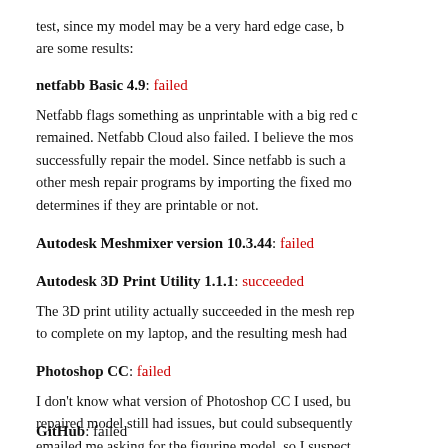test, since my model may be a very hard edge case, b… are some results:
netfabb Basic 4.9: failed
Netfabb flags something as unprintable with a big red … remained. Netfabb Cloud also failed. I believe the mo… successfully repair the model. Since netfabb is such a … other mesh repair programs by importing the fixed mo… determines if they are printable or not.
Autodesk Meshmixer version 10.3.44: failed
Autodesk 3D Print Utility 1.1.1: succeeded
The 3D print utility actually succeeded in the mesh rep… to complete on my laptop, and the resulting mesh had…
Photoshop CC: failed
I don't know what version of Photoshop CC I used, bu… repaired model still had issues, but could subsequently… emailed me asking for the figurine model, so I suspect…
GitHub: failed